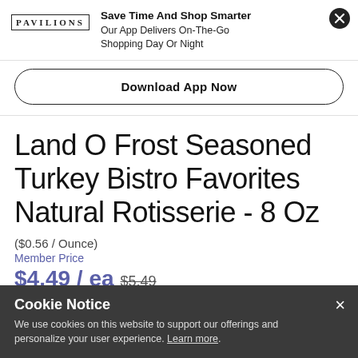[Figure (logo): Pavilions grocery store logo text]
Save Time And Shop Smarter
Our App Delivers On-The-Go Shopping Day Or Night
Download App Now
Land O Frost Seasoned Turkey Bistro Favorites Natural Rotisserie - 8 Oz
($0.56 / Ounce)
Member Price
$4.49 / ea $5.49
$4.49 Save Up To: $1.0 (Valid for orders through 8/30/22)
Cookie Notice
We use cookies on this website to support our offerings and personalize your user experience. Learn more.